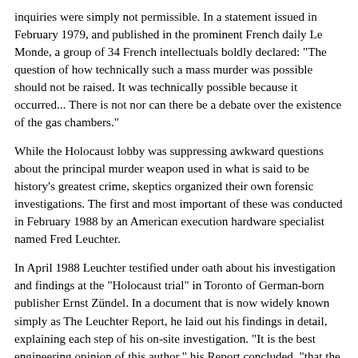inquiries were simply not permissible. In a statement issued in February 1979, and published in the prominent French daily Le Monde, a group of 34 French intellectuals boldly declared: "The question of how technically such a mass murder was possible should not be raised. It was technically possible because it occurred... There is not nor can there be a debate over the existence of the gas chambers."
While the Holocaust lobby was suppressing awkward questions about the principal murder weapon used in what is said to be history's greatest crime, skeptics organized their own forensic investigations. The first and most important of these was conducted in February 1988 by an American execution hardware specialist named Fred Leuchter.
In April 1988 Leuchter testified under oath about his investigation and findings at the "Holocaust trial" in Toronto of German-born publisher Ernst Zündel. In a document that is now widely known simply as The Leuchter Report, he laid out his findings in detail, explaining each step of his on-site investigation. "It is the best engineering opinion of this author," his Report concluded, "that the alleged gas chambers at the inspected sites could not have then been, or now be, utilized or seriously considered to function as execution gas chambers."
Leuchter's findings, which have been corroborated after...